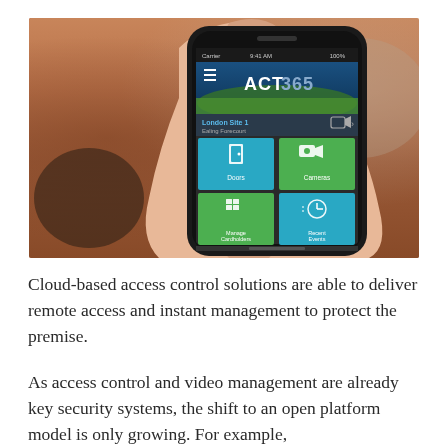[Figure (photo): A hand holding a smartphone displaying the ACT365 cloud-based access control app. The app screen shows a menu with four tiles: Doors, Cameras, Manage Cardholders, and Recent Events, under a header showing 'London Site 1 - Ealing Forecourt'.]
Cloud-based access control solutions are able to deliver remote access and instant management to protect the premise.
As access control and video management are already key security systems, the shift to an open platform model is only growing. For example, Vanderbilt's solutions allow users to use the...